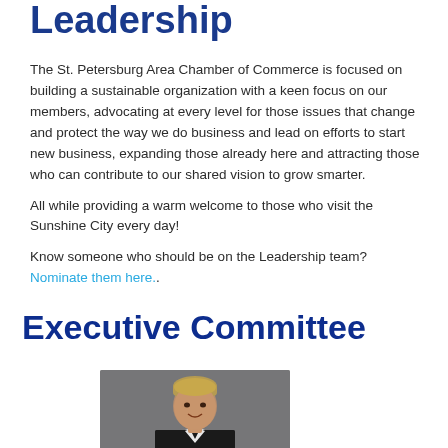Leadership
The St. Petersburg Area Chamber of Commerce is focused on building a sustainable organization with a keen focus on our members, advocating at every level for those issues that change and protect the way we do business and lead on efforts to start new business, expanding those already here and attracting those who can contribute to our shared vision to grow smarter.
All while providing a warm welcome to those who visit the Sunshine City every day!
Know someone who should be on the Leadership team? Nominate them here.
Executive Committee
[Figure (photo): Headshot of a woman with short blonde hair wearing a dark jacket with white collar, smiling, against a grey background]